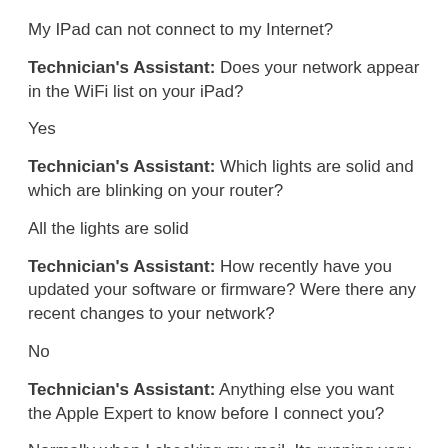My IPad can not connect to my Internet?
Technician's Assistant: Does your network appear in the WiFi list on your iPad?
Yes
Technician's Assistant: Which lights are solid and which are blinking on your router?
All the lights are solid
Technician's Assistant: How recently have you updated your software or firmware? Were there any recent changes to your network?
No
Technician's Assistant: Anything else you want the Apple Expert to know before I connect you?
Normally when I checking my mail. Its running very slow at times I can't delete the mail